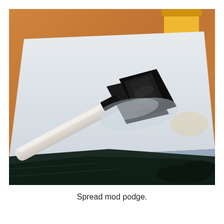[Figure (photo): A foam brush with a white handle and black foam tip is pressing down on a white canvas or board, spreading mod podge. A piece of dark fabric is visible at the bottom. An orange/brown wooden table surface is in the background. A yellow container is partially visible in the upper right corner.]
Spread mod podge.